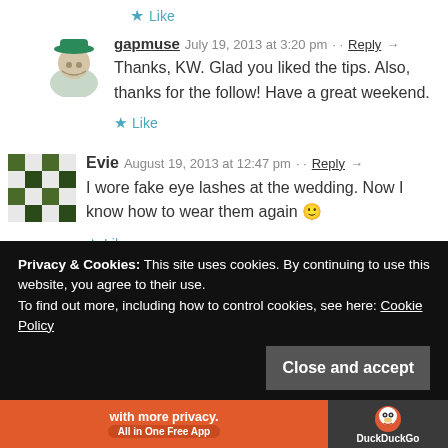★ Like
[Figure (illustration): Avatar of gapmuse - person with green hat illustration]
gapmuse  July 19, 2013 at 3:20 pm · · Reply →
Thanks, KW. Glad you liked the tips. Also, thanks for the follow! Have a great weekend.
★ Like
[Figure (illustration): Avatar of Evie - pixelated pattern avatar]
Evie  August 19, 2013 at 12:47 pm · · Reply →
I wore fake eye lashes at the wedding. Now I know how to wear them again 🙂
★ Like
Privacy & Cookies: This site uses cookies. By continuing to use this website, you agree to their use.
To find out more, including how to control cookies, see here: Cookie Policy
Close and accept
[Figure (screenshot): DuckDuckGo advertisement banner - with more privacy. All in One Free App]